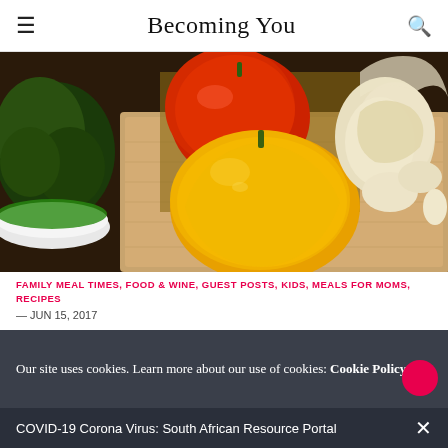Becoming You
[Figure (photo): Close-up photo of vegetables on a cutting board: yellow bell pepper in center, red tomato in background left, garlic cloves on the right, green herbs/basil in a white bowl at left]
FAMILY MEAL TIMES, FOOD & WINE, GUEST POSTS, KIDS, MEALS FOR MOMS, RECIPES
— JUN 15, 2017
Meals for Moms: Roasted Tomato &
Our site uses cookies. Learn more about our use of cookies: Cookie Policy
COVID-19 Corona Virus: South African Resource Portal